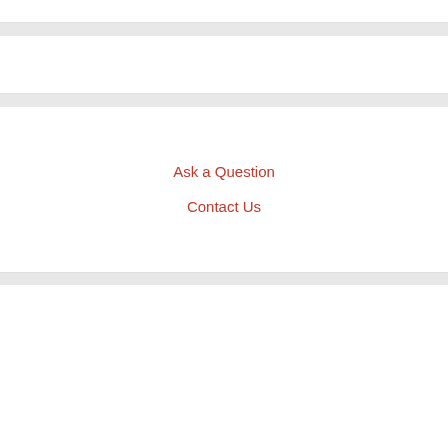Ask a Question
Contact Us
Sponsored Content
Recommended by
[Figure (photo): Photo of the US Capitol building dome, partial view from below-right angle, against a light sky background]
Looking For Recommendations on Politics? Personalized...